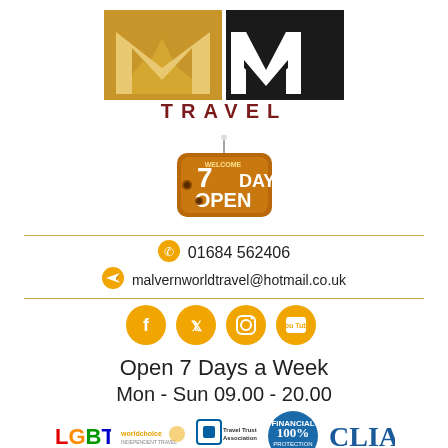[Figure (logo): Malvern World Travel logo with gold M shape on left and white W on black background on right, with TRAVEL text below]
[Figure (illustration): Hanging wooden sign reading WELCOME 7 DAYS OPEN in orange/brown tones]
01684 562406
malvernworldtravel@hotmail.co.uk
[Figure (infographic): Social media icons: Facebook, Twitter, Instagram, YouTube - all gold/amber circles]
Open 7 Days a Week
Mon - Sun 09.00 - 20.00
[Figure (logo): Footer logos: LGBT rainbow text, worldchoice logo, Travel Trust Association logo, 100% Financial Protection badge, CLIA Cruise Lines International Association logo]